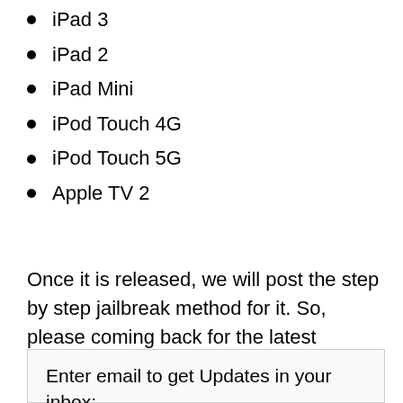iPad 3
iPad 2
iPad Mini
iPod Touch 4G
iPod Touch 5G
Apple TV 2
Once it is released, we will post the step by step jailbreak method for it. So, please coming back for the latest updates.
Enter email to get Updates in your inbox: